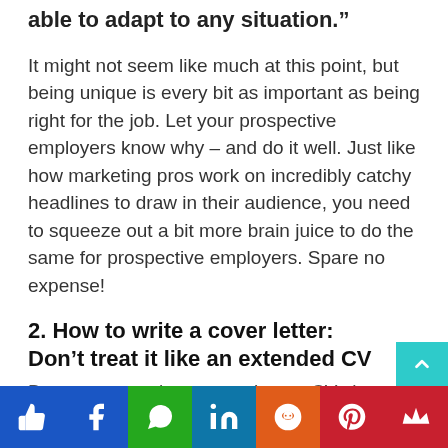able to adapt to any situation.”
It might not seem like much at this point, but being unique is every bit as important as being right for the job. Let your prospective employers know why – and do it well. Just like how marketing pros work on incredibly catchy headlines to draw in their audience, you need to squeeze out a bit more brain juice to do the same for prospective employers. Spare no expense!
2. How to write a cover letter: Don’t treat it like an extended CV
Because cover letters aren’t your CVs b…